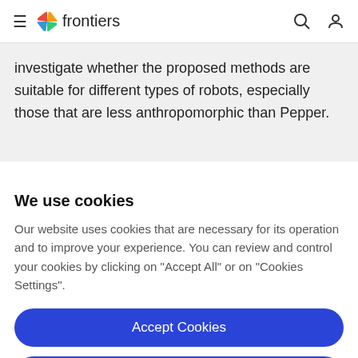frontiers
investigate whether the proposed methods are suitable for different types of robots, especially those that are less anthropomorphic than Pepper.
We use cookies
Our website uses cookies that are necessary for its operation and to improve your experience. You can review and control your cookies by clicking on "Accept All" or on "Cookies Settings".
Accept Cookies
Cookies Settings